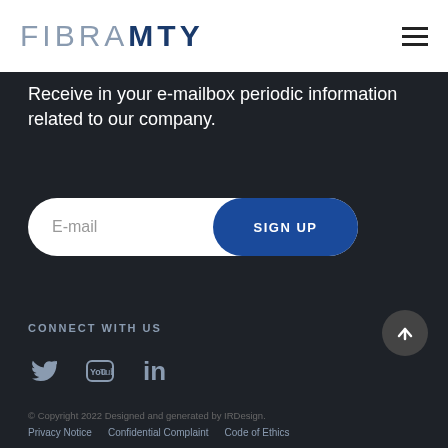FIBRAMTY
Receive in your e-mailbox periodic information related to our company.
[Figure (other): Email signup form with white pill-shaped input field labeled 'E-mail' and a blue 'SIGN UP' button]
CONNECT WITH US
[Figure (other): Social media icons: Twitter (bird), YouTube, LinkedIn]
© Copyright 2022 Designed and generated by IRDesign.
Privacy Notice    Confidential Complaint    Code of Ethics